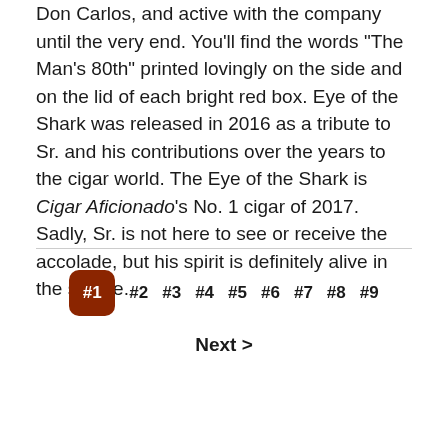Don Carlos, and active with the company until the very end. You'll find the words "The Man's 80th" printed lovingly on the side and on the lid of each bright red box. Eye of the Shark was released in 2016 as a tribute to Sr. and his contributions over the years to the cigar world. The Eye of the Shark is Cigar Aficionado's No. 1 cigar of 2017. Sadly, Sr. is not here to see or receive the accolade, but his spirit is definitely alive in the smoke.
#1 #2 #3 #4 #5 #6 #7 #8 #9
Next >